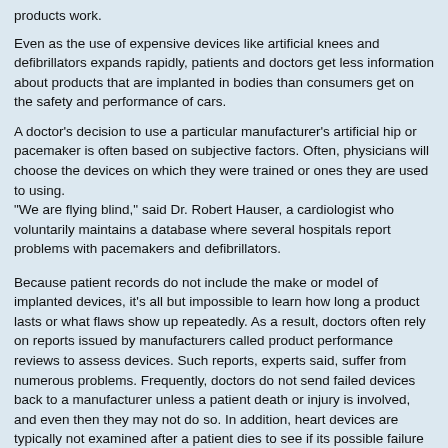products work.
Even as the use of expensive devices like artificial knees and defibrillators expands rapidly, patients and doctors get less information about products that are implanted in bodies than consumers get on the safety and performance of cars.
A doctor's decision to use a particular manufacturer's artificial hip or pacemaker is often based on subjective factors. Often, physicians will choose the devices on which they were trained or ones they are used to using.
"We are flying blind," said Dr. Robert Hauser, a cardiologist who voluntarily maintains a database where several hospitals report problems with pacemakers and defibrillators.
Because patient records do not include the make or model of implanted devices, it's all but impossible to learn how long a product lasts or what flaws show up repeatedly. As a result, doctors often rely on reports issued by manufacturers called product performance reviews to assess devices. Such reports, experts said, suffer from numerous problems. Frequently, doctors do not send failed devices back to a manufacturer unless a patient death or injury is involved, and even then they may not do so. In addition, heart devices are typically not examined after a patient dies to see if its possible failure might have contributed to the death.
Under little-known F.D.A. requirements, however, makers of pacemakers and defibrillators must report highly detailed product performance data to the agency once a year. But most physicians do not know that the agency collects the data because the F.D.A. has chosen not to make it public. An F.D.A. spokeswoman said she believed that the reports were probably available under the Freedom of Information Act, but did not say why the